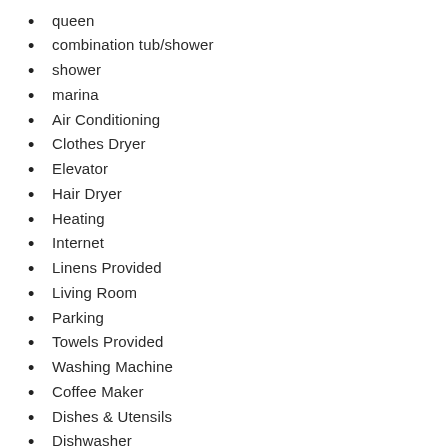queen
combination tub/shower
shower
marina
Air Conditioning
Clothes Dryer
Elevator
Hair Dryer
Heating
Internet
Linens Provided
Living Room
Parking
Towels Provided
Washing Machine
Coffee Maker
Dishes & Utensils
Dishwasher
Microwave
Oven
Refrigerator
Stove
Toaster